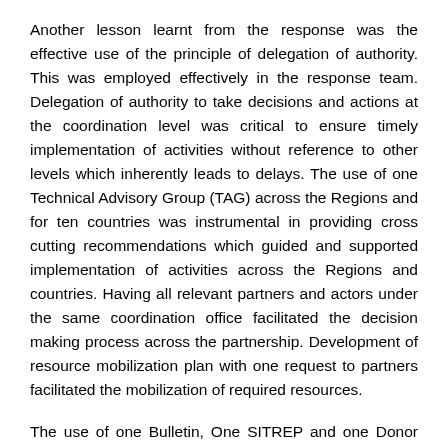Another lesson learnt from the response was the effective use of the principle of delegation of authority. This was employed effectively in the response team. Delegation of authority to take decisions and actions at the coordination level was critical to ensure timely implementation of activities without reference to other levels which inherently leads to delays. The use of one Technical Advisory Group (TAG) across the Regions and for ten countries was instrumental in providing cross cutting recommendations which guided and supported implementation of activities across the Regions and countries. Having all relevant partners and actors under the same coordination office facilitated the decision making process across the partnership. Development of resource mobilization plan with one request to partners facilitated the mobilization of required resources.
The use of one Bulletin, One SITREP and one Donor Update prepared under the coordination office and shared with all the partners allowed same Technical and Management information to reach all concerned at the